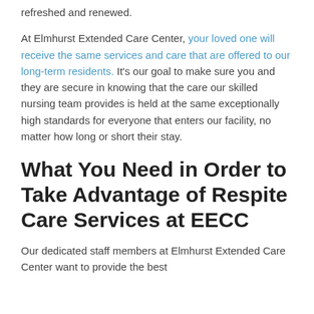refreshed and renewed.
At Elmhurst Extended Care Center, your loved one will receive the same services and care that are offered to our long-term residents. It's our goal to make sure you and they are secure in knowing that the care our skilled nursing team provides is held at the same exceptionally high standards for everyone that enters our facility, no matter how long or short their stay.
What You Need in Order to Take Advantage of Respite Care Services at EECC
Our dedicated staff members at Elmhurst Extended Care Center want to provide the best